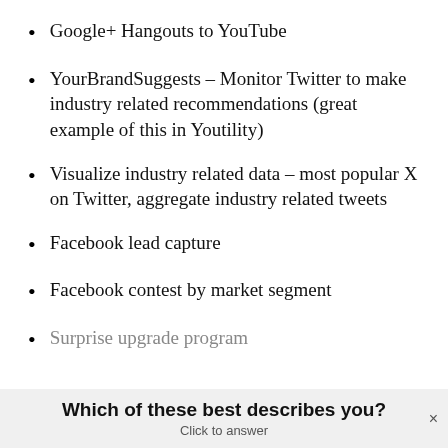Google+ Hangouts to YouTube
YourBrandSuggests – Monitor Twitter to make industry related recommendations (great example of this in Youtility)
Visualize industry related data – most popular X on Twitter, aggregate industry related tweets
Facebook lead capture
Facebook contest by market segment
Surprise upgrade program
Which of these best describes you?
Click to answer